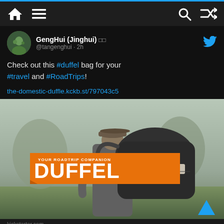Navigation bar with home, menu, search, shuffle icons
GengHui (Jinghui) @tangenghui · 2h
Check out this #duffel bag for your #travel and #RoadTrips!
the-domestic-duffle.kckb.st/797043c5
[Figure (photo): Person carrying a large black duffel bag on their shoulder, viewed from behind, in an outdoor setting. Orange badge reads 'YOUR ROADTRIP COMPANION DUFFEL']
kickstarter.com
Domestic Duffel // Your Roadtrip Companion